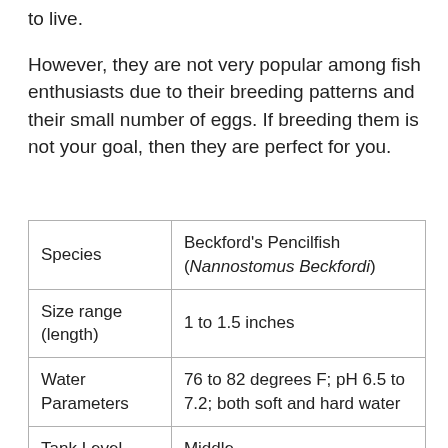to live.
However, they are not very popular among fish enthusiasts due to their breeding patterns and their small number of eggs. If breeding them is not your goal, then they are perfect for you.
| Species | Beckford's Pencilfish (Nannostomus Beckfordi) |
| Size range (length) | 1 to 1.5 inches |
| Water Parameters | 76 to 82 degrees F; pH 6.5 to 7.2; both soft and hard water |
| Tank Level | Middle |